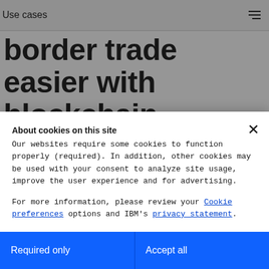Use cases
border trade easier with blockchain
Collectively, small and medium-size enterprises are a dynamic economic force. Individually, they struggle to...
About cookies on this site
Our websites require some cookies to function properly (required). In addition, other cookies may be used with your consent to analyze site usage, improve the user experience and for advertising.
For more information, please review your Cookie preferences options and IBM's privacy statement.